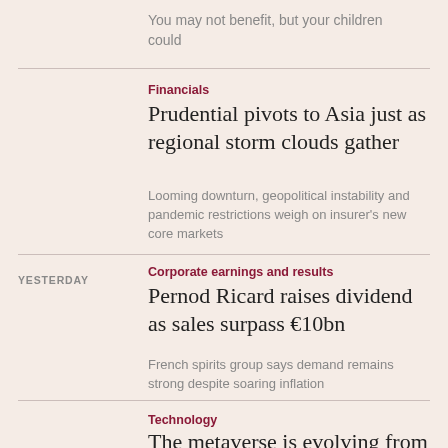You may not benefit, but your children could
Financials
Prudential pivots to Asia just as regional storm clouds gather
Looming downturn, geopolitical instability and pandemic restrictions weigh on insurer's new core markets
YESTERDAY
Corporate earnings and results
Pernod Ricard raises dividend as sales surpass €10bn
French spirits group says demand remains strong despite soaring inflation
Technology
The metaverse is evolving from